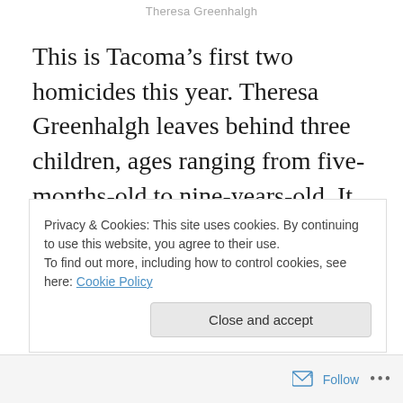Theresa Greenhalgh
This is Tacoma’s first two homicides this year. Theresa Greenhalgh leaves behind three children, ages ranging from five-months-old to nine-years-old. It is easy to get caught up in the gruesome details of a crime like this and forget that this is not a movie or television show, but two people who were here in Tacoma on New Year’s Day and have been taken from this world against their will. These
Privacy & Cookies: This site uses cookies. By continuing to use this website, you agree to their use.
To find out more, including how to control cookies, see here: Cookie Policy
Close and accept